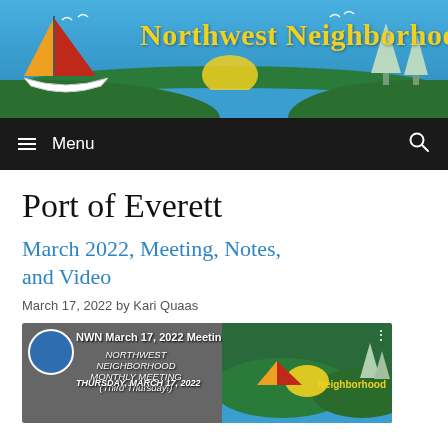[Figure (illustration): Northwest Neighborhood website banner with sailboat, trees, hills, water, and yellow title text on blue sky background]
Menu
Port of Everett
March 2022, Meeting, Notes, and Video
March 17, 2022 by Kari Quaas
[Figure (screenshot): Video thumbnail for NWN March 17, 2022 Meeting showing Northwest Neighborhood logo, monthly meeting notice for Thursday March 17, 2022 and neighborhood branding on right side]